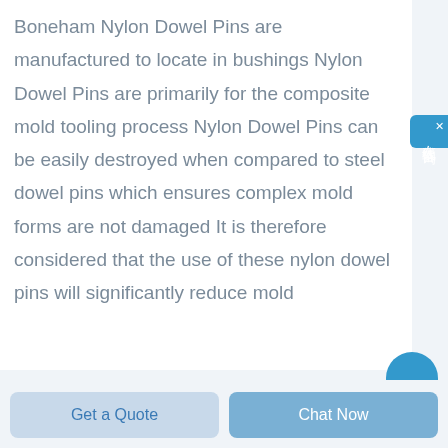Boneham Nylon Dowel Pins are manufactured to locate in bushings Nylon Dowel Pins are primarily for the composite mold tooling process Nylon Dowel Pins can be easily destroyed when compared to steel dowel pins which ensures complex mold forms are not damaged It is therefore considered that the use of these nylon dowel pins will significantly reduce mold
[Figure (other): Blue chat widget button on the right side with Chinese characters 在线咨询 (online consultation) and a close X button]
[Figure (other): Blue circular chat button partially visible at the bottom right of the content area]
Get a Quote
Chat Now